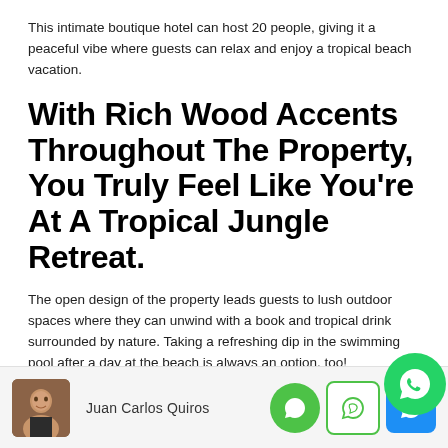This intimate boutique hotel can host 20 people, giving it a peaceful vibe where guests can relax and enjoy a tropical beach vacation.
With Rich Wood Accents Throughout The Property, You Truly Feel Like You're At A Tropical Jungle Retreat.
The open design of the property leads guests to lush outdoor spaces where they can unwind with a book and tropical drink surrounded by nature. Taking a refreshing dip in the swimming pool after a day at the beach is always an option, too!
[Figure (photo): Headshot photo of Juan Carlos Quiros, a man in a dark jacket]
Juan Carlos Quiros
[Figure (logo): Social media messaging icons: green circle chat icon, outlined WhatsApp icon, blue box icon, and large green WhatsApp circle overlay]